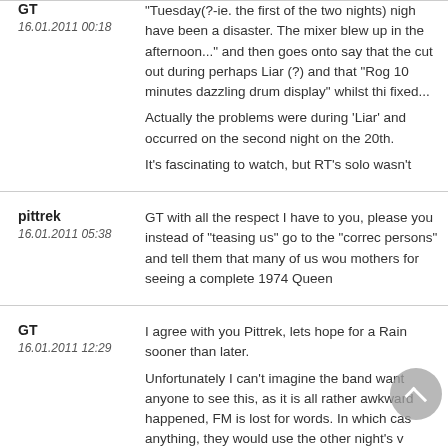GT with all the respect I have to you, please instead of "teasing us" go to the "correct persons" and tell them that many of us wou... mothers for seeing a complete 1974 Queen...
"Tuesday(?-ie. the first of the two nights) nigh have been a disaster. The mixer blew up in... afternoon..." and then goes onto say that the cut out during perhaps Liar (?) and that "Rog 10 minutes dazzling drum display" whilst thi fixed...
Actually the problems were during 'Liar' and... occurred on the second night on the 20th.
It's fascinating to watch, but RT's solo wasn't...
GT
16.01.2011 00:18
pittrek
16.01.2011 05:38
GT
16.01.2011 12:29
GT with all the respect I have to you, please you instead of "teasing us" go to the "correc persons" and tell them that many of us wou mothers for seeing a complete 1974 Queen...
I agree with you Pittrek, lets hope for a Rain sooner than later.
Unfortunately I can't imagine the band want anyone to see this, as it is all rather awkward happened, FM is lost for words. In which cas anything, they would use the other night's v...